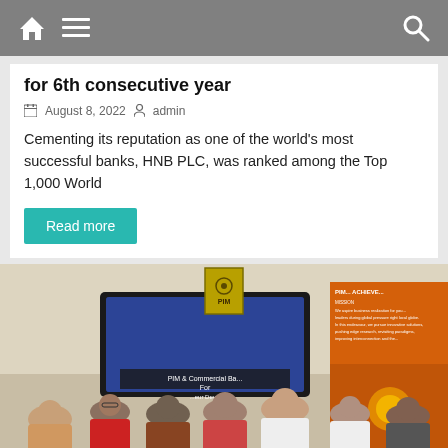navigation bar with home, menu and search icons
for 6th consecutive year
August 8, 2022   admin
Cementing its reputation as one of the world's most successful banks, HNB PLC, was ranked among the Top 1,000 World
Read more
[Figure (photo): Group photo of people at a PIM & Commercial Bank event, standing in front of a screen and a PIM logo plaque on the wall. An orange banner is visible on the right side.]